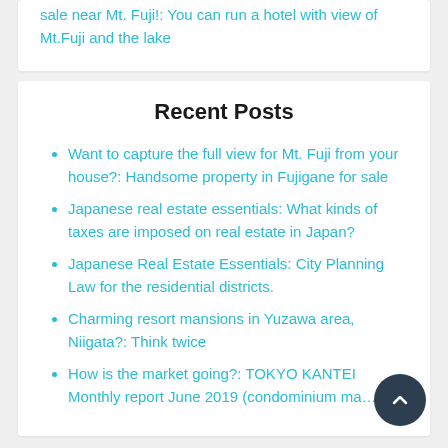sale near Mt. Fuji!: You can run a hotel with view of Mt.Fuji and the lake
Recent Posts
Want to capture the full view for Mt. Fuji from your house?: Handsome property in Fujigane for sale
Japanese real estate essentials: What kinds of taxes are imposed on real estate in Japan?
Japanese Real Estate Essentials: City Planning Law for the residential districts.
Charming resort mansions in Yuzawa area, Niigata?: Think twice
How is the market going?: TOKYO KANTEI Monthly report June 2019 (condominium ma…)